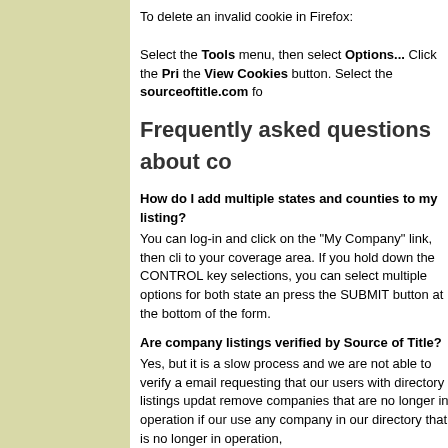To delete an invalid cookie in Firefox: Select the Tools menu, then select Options... Click the Pri the View Cookies button. Select the sourceoftitle.com fo
Frequently asked questions about co
How do I add multiple states and counties to my listing?
You can log-in and click on the "My Company" link, then cli to your coverage area. If you hold down the CONTROL key selections, you can select multiple options for both state and press the SUBMIT button at the bottom of the form.
Are company listings verified by Source of Title?
Yes, but it is a slow process and we are not able to verify a email requesting that our users with directory listings upda remove companies that are no longer in operation if our use any company in our directory that is no longer in operation,
You can make the directory better-- If you find a company i other contact information, click on the "Report trouble reach company listing to mark the company as unreachable so th
How do I list my company in more than 300 counties?
For a fee you can list in more than 300 counties. Call us fo
How do I list my business on Source of Title?
It's very simple... just register as a user on the site, and as given the opportunity to list your company's profile. Once y appear in the business directory uder the counties in your s take a couple of days.